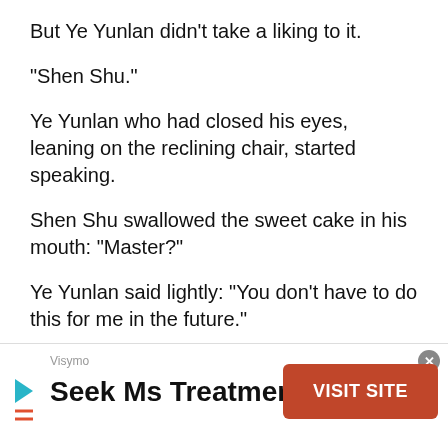But Ye Yunlan didn't take a liking to it.
“Shen Shu.”
Ye Yunlan who had closed his eyes, leaning on the reclining chair, started speaking.
Shen Shu swallowed the sweet cake in his mouth: “Master?”
Ye Yunlan said lightly: “You don’t have to do this for me in the future.”
Suddenly, Shen Shu felt that the sweet cake in his hand…
[Figure (infographic): Advertisement banner at the bottom of the page for 'Seek Ms Treatment' by Visymo with a red 'VISIT SITE' button and a close (x) button.]